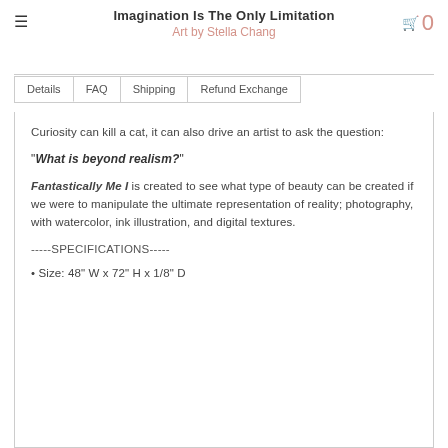Imagination Is The Only Limitation
Art by Stella Chang
Curiosity can kill a cat, it can also drive an artist to ask the question:

"What is beyond realism?"

Fantastically Me I is created to see what type of beauty can be created if we were to manipulate the ultimate representation of reality; photography, with watercolor, ink illustration, and digital textures.

-----SPECIFICATIONS-----

• Size: 48" W x 72" H x 1/8" D